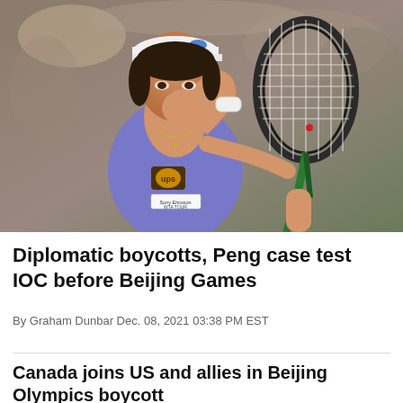[Figure (photo): A female tennis player in a blue/purple Adidas outfit and white cap, holding a green and black tennis racket, covering her mouth with her right hand. She wears a UPS sponsor logo and a WTA Tour badge. Crowd visible in the blurred background.]
Diplomatic boycotts, Peng case test IOC before Beijing Games
By Graham Dunbar Dec. 08, 2021 03:38 PM EST
Canada joins US and allies in Beijing Olympics boycott